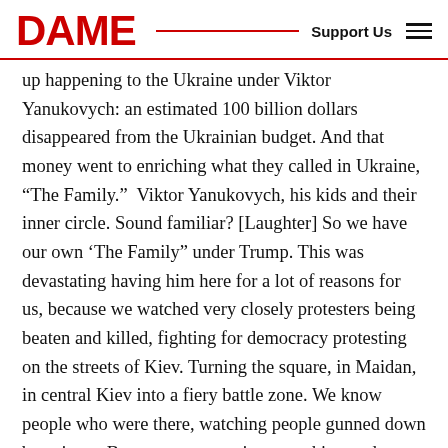DAME  Support Us
up happening to the Ukraine under Viktor Yanukovych: an estimated 100 billion dollars disappeared from the Ukrainian budget. And that money went to enriching what they called in Ukraine, “The Family.”  Viktor Yanukovych, his kids and their inner circle. Sound familiar? [Laughter] So we have our own ‘The Family” under Trump. This was devastating having him here for a lot of reasons for us, because we watched very closely protesters being beaten and killed, fighting for democracy protesting on the streets of Kiev. Turning the square, in Maidan, in central Kiev into a fiery battle zone. We know people who were there, watching people gunned down by snipers. By government snipers working under Viktor Yanukovych.  Immediately, when